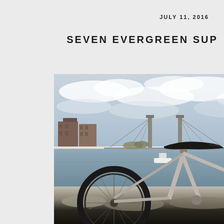JULY 11, 2016
SEVEN EVERGREEN SUP
[Figure (photo): A bicycle with a black saddle and silver frame photographed near a waterfront with a large suspension bridge (Williamsburg Bridge) in the background, along with brick buildings and a cloudy sky. The photo is taken in New York City.]